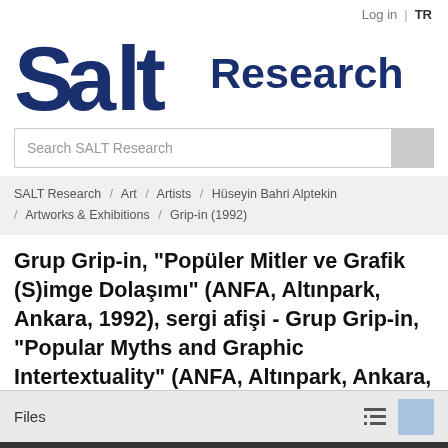Log in | TR
[Figure (logo): SALT Research logo with large bold blue 'Salt' wordmark and 'Research' text]
Search SALT Research
SALT Research / Art / Artists / Hüseyin Bahri Alptekin / Artworks & Exhibitions / Grip-in (1992)
Grup Grip-in, "Popüler Mitler ve Grafik (S)imge Dolaşımı" (ANFA, Altınpark, Ankara, 1992), sergi afişi - Grup Grip-in, "Popular Myths and Graphic Intertextuality" (ANFA, Altınpark, Ankara, 1992), exhibition poster
Files